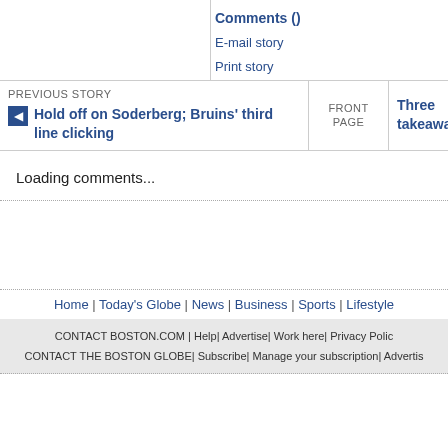Comments ()
E-mail story
Print story
PREVIOUS STORY
Hold off on Soderberg; Bruins' third line clicking
FRONT PAGE
Three takeaway
Loading comments...
Home | Today's Globe | News | Business | Sports | Lifestyle
CONTACT BOSTON.COM | Help | Advertise | Work here | Privacy Polic... CONTACT THE BOSTON GLOBE | Subscribe | Manage your subscription | Advertis...